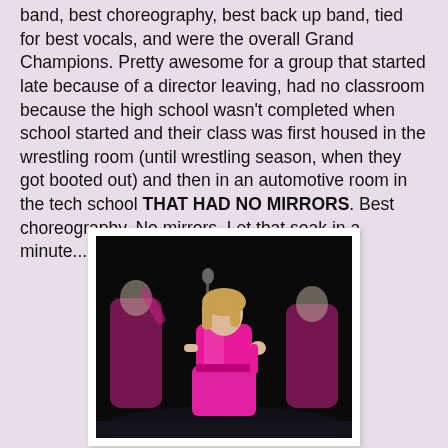band, best choreography, best back up band, tied for best vocals, and were the overall Grand Champions. Pretty awesome for a group that started late because of a director leaving, had no classroom because the high school wasn't completed when school started and their class was first housed in the wrestling room (until wrestling season, when they got booted out) and then in an automotive room in the tech school THAT HAD NO MIRRORS. Best choreography. No mirrors. Let that soak in a minute....
[Figure (photo): Performers wearing pink satin outfits on a dark stage; center performer is posed with hand raised, flanked by two others]